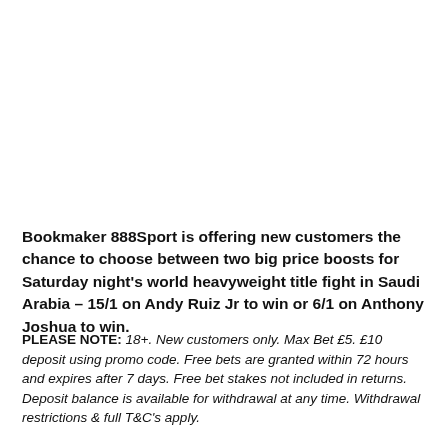Bookmaker 888Sport is offering new customers the chance to choose between two big price boosts for Saturday night's world heavyweight title fight in Saudi Arabia – 15/1 on Andy Ruiz Jr to win or 6/1 on Anthony Joshua to win.
PLEASE NOTE: 18+. New customers only. Max Bet £5. £10 deposit using promo code. Free bets are granted within 72 hours and expires after 7 days. Free bet stakes not included in returns. Deposit balance is available for withdrawal at any time. Withdrawal restrictions & full T&C's apply.